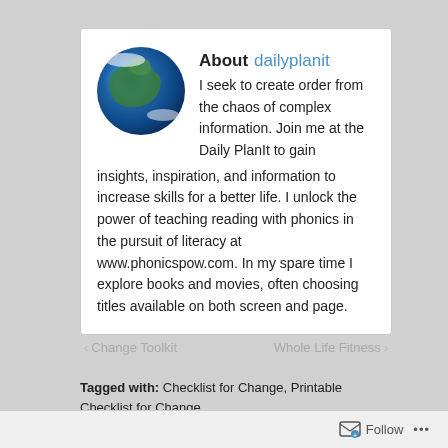[Figure (illustration): Globe/Earth illustration used as profile avatar]
About dailyplanit
I seek to create order from the chaos of complex information. Join me at the Daily PlanIt to gain insights, inspiration, and information to increase skills for a better life. I unlock the power of teaching reading with phonics in the pursuit of literacy at www.phonicspow.com. In my spare time I explore books and movies, often choosing titles available on both screen and page.
‹ Change Toolkit   Whole Life Fitness ›
Tagged with: Checklist for Change, Printable Checklist for Change